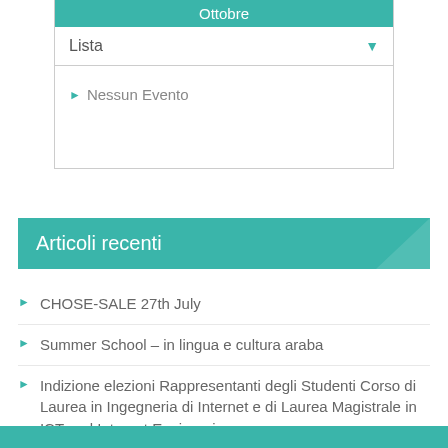| Ottobre |
| --- |
| Lista |
| ▶ Nessun Evento |
Articoli recenti
CHOSE-SALE 27th July
Summer School – in lingua e cultura araba
Indizione elezioni Rappresentanti degli Studenti Corso di Laurea in Ingegneria di Internet e di Laurea Magistrale in ICT and Internet Engineering